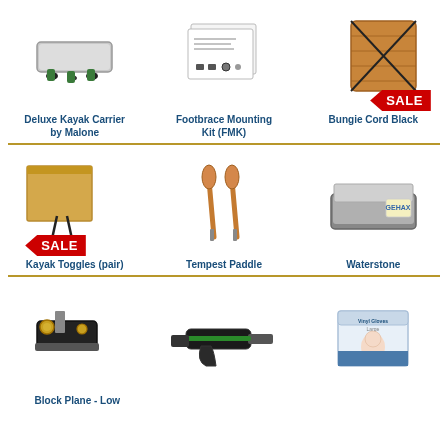[Figure (photo): Deluxe Kayak Carrier by Malone product photo]
[Figure (photo): Footbrace Mounting Kit (FMK) product photo]
[Figure (photo): Bungie Cord Black product photo with SALE badge]
Deluxe Kayak Carrier by Malone
Footbrace Mounting Kit (FMK)
Bungie Cord Black
[Figure (photo): Kayak Toggles (pair) product photo with SALE badge]
[Figure (photo): Tempest Paddle product photo]
[Figure (photo): Waterstone product photo]
Kayak Toggles (pair)
Tempest Paddle
Waterstone
[Figure (photo): Block Plane - Low product photo]
[Figure (photo): Electric tool product photo]
[Figure (photo): Gloves box product photo]
Block Plane - Low